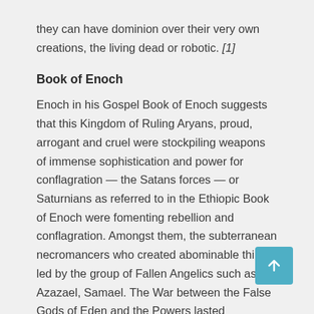they can have dominion over their very own creations, the living dead or robotic. [1]
Book of Enoch
Enoch in his Gospel Book of Enoch suggests that this Kingdom of Ruling Aryans, proud, arrogant and cruel were stockpiling weapons of immense sophistication and power for conflagration — the Satans forces — or Saturnians as referred to in the Ethiopic Book of Enoch were fomenting rebellion and conflagration. Amongst them, the subterranean necromancers who created abominable things led by the group of Fallen Angelics such as Azazael, Samael. The War between the False Gods of Eden and the Powers lasted